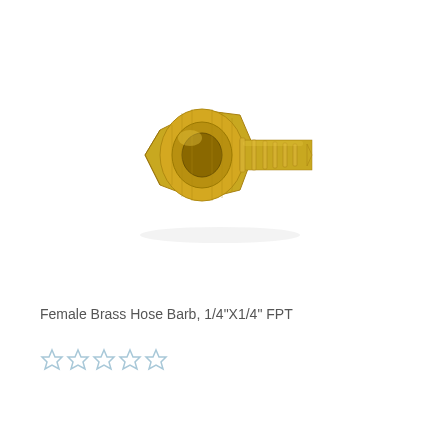[Figure (photo): A Female Brass Hose Barb fitting with 1/4" barb end on the right and a hexagonal threaded female connector on the left, made of golden brass material.]
Female Brass Hose Barb, 1/4"X1/4" FPT
[Figure (other): Five-star rating displayed as light blue/gray outline stars]